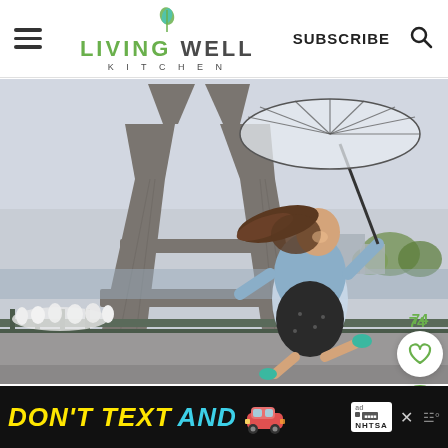Living Well Kitchen — SUBSCRIBE
[Figure (photo): Woman jumping in front of the Eiffel Tower in Paris, holding a clear umbrella, wearing a denim jacket and black polka-dot dress, with long brown hair blowing in the wind. Crowd of people visible in the background.]
74
[Figure (other): Heart (like) button and search button on the right side]
[Figure (other): Advertisement banner: DON'T TEXT AND [car emoji] with ad choices and NHTSA logo]